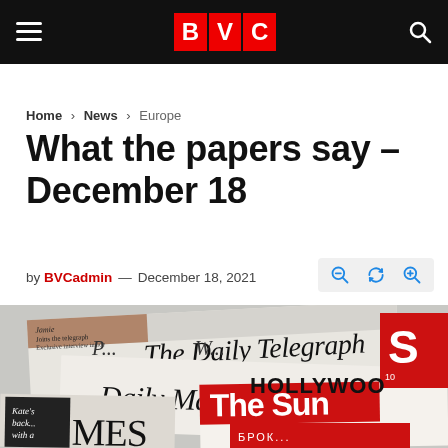BVC
Home › News › Europe
What the papers say – December 18
by BVCadmin — December 18, 2021
[Figure (photo): A pile of British newspapers including The Daily Telegraph, Daily Mail, The Sun, The Times, and The Hollywood Reporter overlapping each other, photographed from above.]